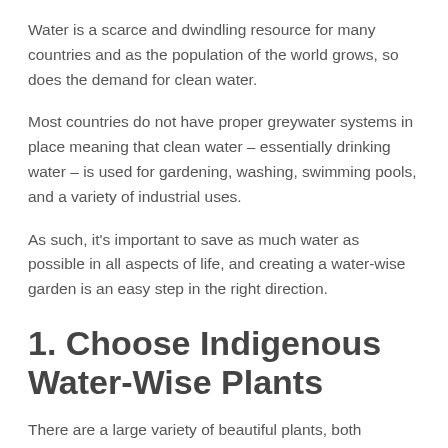Water is a scarce and dwindling resource for many countries and as the population of the world grows, so does the demand for clean water.
Most countries do not have proper greywater systems in place meaning that clean water – essentially drinking water – is used for gardening, washing, swimming pools, and a variety of industrial uses.
As such, it's important to save as much water as possible in all aspects of life, and creating a water-wise garden is an easy step in the right direction.
1. Choose Indigenous Water-Wise Plants
There are a large variety of beautiful plants, both flowering and non-flowering, which require minimal to almost no watering once established.